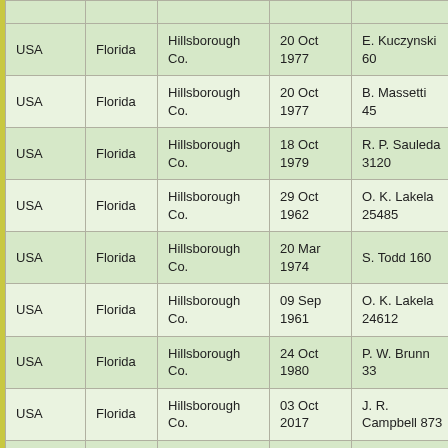| Country | State | County | Date | Collector |
| --- | --- | --- | --- | --- |
| USA | Florida | Hillsborough Co. | 20 Oct 1977 | E. Kuczynski 60 |
| USA | Florida | Hillsborough Co. | 20 Oct 1977 | B. Massetti 45 |
| USA | Florida | Hillsborough Co. | 18 Oct 1979 | R. P. Sauleda 3120 |
| USA | Florida | Hillsborough Co. | 29 Oct 1962 | O. K. Lakela 25485 |
| USA | Florida | Hillsborough Co. | 20 Mar 1974 | S. Todd 160 |
| USA | Florida | Hillsborough Co. | 09 Sep 1961 | O. K. Lakela 24612 |
| USA | Florida | Hillsborough Co. | 24 Oct 1980 | P. W. Brunn 33 |
| USA | Florida | Hillsborough Co. | 03 Oct 2017 | J. R. Campbell 873 |
| USA | Florida | Hillsborough Co. | 08 Nov 2019 | S. Dickman 1333 |
| USA | Florida | Lee Co. | 28 Nov 1977 | W. C. Brumbach 9320 |